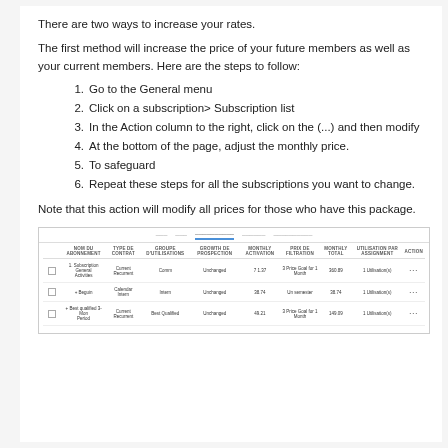There are two ways to increase your rates.
The first method will increase the price of your future members as well as your current members. Here are the steps to follow:
1. Go to the General menu
2. Click on a subscription> Subscription list
3. In the Action column to the right, click on the (...) and then modify
4. At the bottom of the page, adjust the monthly price.
5. To safeguard
6. Repeat these steps for all the subscriptions you want to change.
Note that this action will modify all prices for those who have this package.
[Figure (screenshot): Screenshot of a subscription management table with columns for Name, Type of Contract, Group Distribution, Growth of Prospection, Monthly Activation, Price of Filtration, Monthly Total, Utilisation per Assignment, and Action. Shows three rows of subscription data with checkboxes and action menus.]